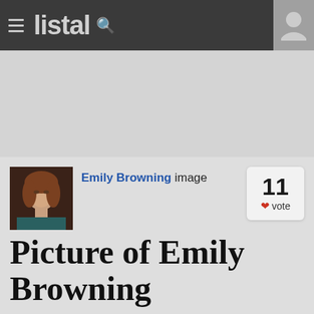listal
[Figure (screenshot): Gray advertisement/banner area]
Emily Browning image
Picture of Emily Browning
[Figure (photo): Cropped bottom of page showing blue background with Emily Browning photo beginning to appear]